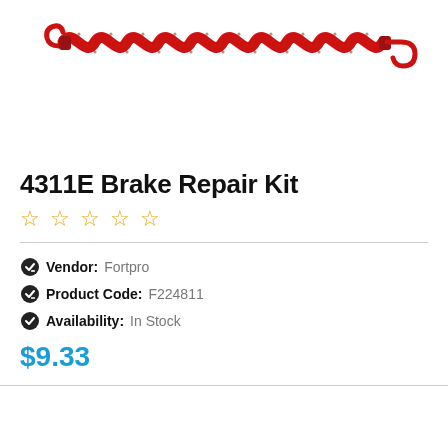[Figure (photo): A red coil brake spring with hook ends, photographed on white background]
4311E Brake Repair Kit
☆☆☆☆☆ (star rating, 0 reviews)
Vendor: Fortpro
Product Code: F224811
Availability: In Stock
$9.33